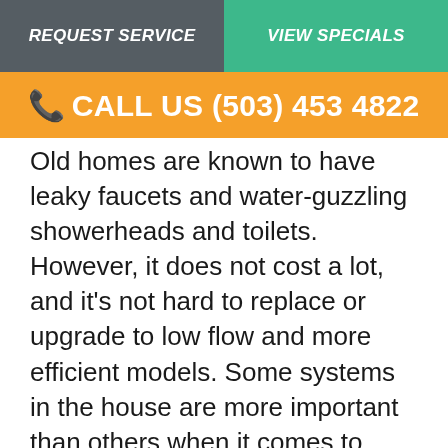REQUEST SERVICE | VIEW SPECIALS
📞 CALL US (503) 453 4822
Old homes are known to have leaky faucets and water-guzzling showerheads and toilets. However, it does not cost a lot, and it's not hard to replace or upgrade to low flow and more efficient models. Some systems in the house are more important than others when it comes to energy efficiency. These systems include your boiler, HVAC unit, and major appliances like the refrigerator, dishwasher, oven, dryer